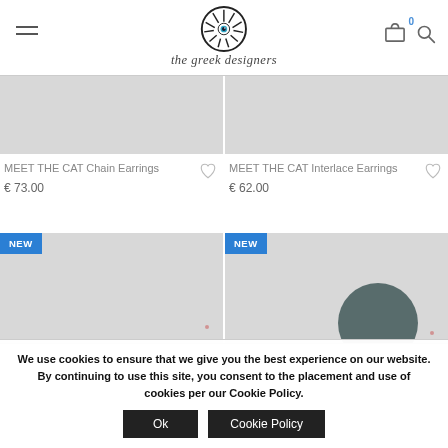the greek designers
MEET THE CAT Chain Earrings € 73.00
MEET THE CAT Interlace Earrings € 62.00
[Figure (screenshot): Two product thumbnails with NEW badges - jewelry items from The Greek Designers shop]
We use cookies to ensure that we give you the best experience on our website. By continuing to use this site, you consent to the placement and use of cookies per our Cookie Policy.